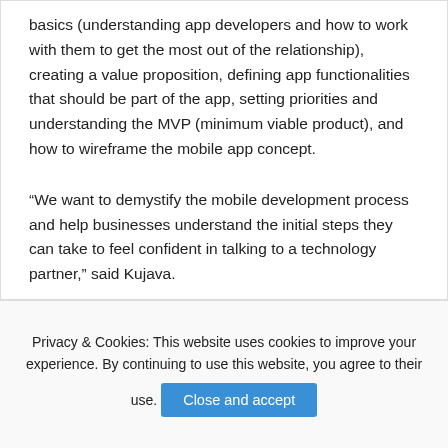basics (understanding app developers and how to work with them to get the most out of the relationship), creating a value proposition, defining app functionalities that should be part of the app, setting priorities and understanding the MVP (minimum viable product), and how to wireframe the mobile app concept.
“We want to demystify the mobile development process and help businesses understand the initial steps they can take to feel confident in talking to a technology partner,” said Kujava.
Privacy & Cookies: This website uses cookies to improve your experience. By continuing to use this website, you agree to their use. Close and accept